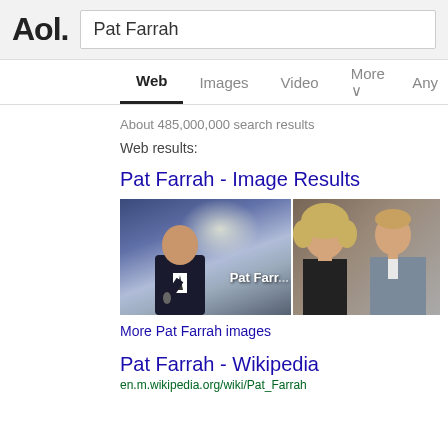[Figure (screenshot): AOL logo and search box with query 'Pat Farrah']
Web  Images  Video  More  Any
About 485,000,000 search results
Web results:
Pat Farrah - Image Results
[Figure (photo): Two photos: left shows a man in a suit speaking at a podium with 'Pat Farr...' text overlay on a blue background; right shows a woman with curly blonde hair and a man in a suit.]
More Pat Farrah images
Pat Farrah - Wikipedia
en.m.wikipedia.org/wiki/Pat_Farrah